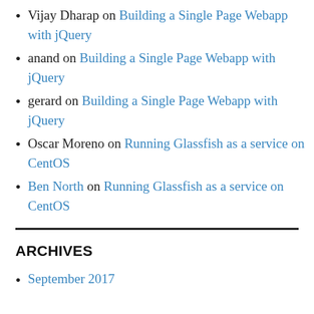Vijay Dharap on Building a Single Page Webapp with jQuery
anand on Building a Single Page Webapp with jQuery
gerard on Building a Single Page Webapp with jQuery
Oscar Moreno on Running Glassfish as a service on CentOS
Ben North on Running Glassfish as a service on CentOS
ARCHIVES
September 2017